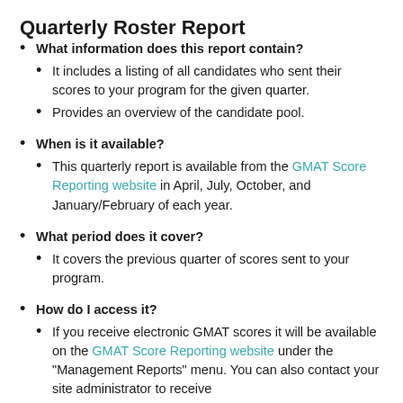Quarterly Roster Report
What information does this report contain?
It includes a listing of all candidates who sent their scores to your program for the given quarter.
Provides an overview of the candidate pool.
When is it available?
This quarterly report is available from the GMAT Score Reporting website in April, July, October, and January/February of each year.
What period does it cover?
It covers the previous quarter of scores sent to your program.
How do I access it?
If you receive electronic GMAT scores it will be available on the GMAT Score Reporting website under the "Management Reports" menu. You can also contact your site administrator to receive